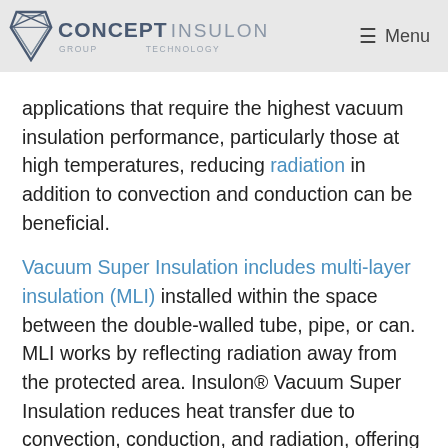CONCEPT Group INSULON TECHNOLOGY | Menu
applications that require the highest vacuum insulation performance, particularly those at high temperatures, reducing radiation in addition to convection and conduction can be beneficial.
Vacuum Super Insulation includes multi-layer insulation (MLI) installed within the space between the double-walled tube, pipe, or can. MLI works by reflecting radiation away from the protected area. Insulon® Vacuum Super Insulation reduces heat transfer due to convection, conduction, and radiation, offering